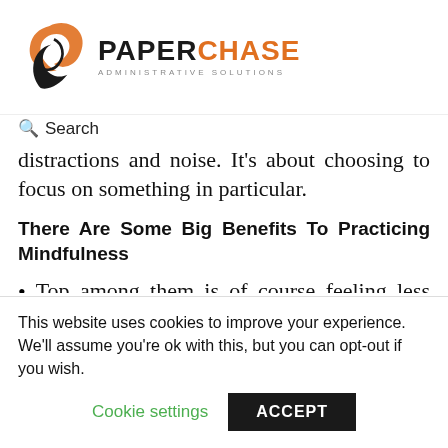PAPERCHASE ADMINISTRATIVE SOLUTIONS
Search
distractions and noise. It's about choosing to focus on something in particular.
There Are Some Big Benefits To Practicing Mindfulness
Top among them is of course feeling less stressed. One of the reasons we feel stressed is because we are pulled in many different directions and are
This website uses cookies to improve your experience. We'll assume you're ok with this, but you can opt-out if you wish. Cookie settings ACCEPT